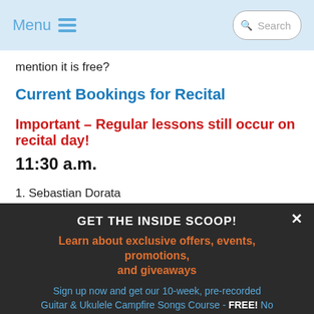Menu  Search
mention it is free?
Current Bookings for Recital
Important – Regular lessons still occur on recital day!
11:30 a.m.
1. Sebastian Dorata
2. Arris Andrews
GET THE INSIDE SCOOP!
Learn about exclusive offers, events, promotions, and giveaways
Sign up now and get our 10-week, pre-recorded Guitar & Ukulele Campfire Songs Course - FREE! No